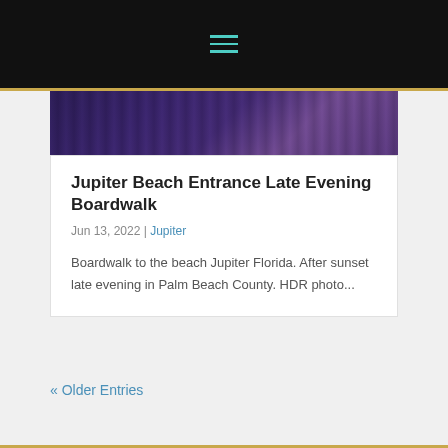Navigation menu (hamburger icon)
[Figure (photo): Dark purple/blue toned boardwalk photo strip showing wooden planks leading to beach at late evening]
Jupiter Beach Entrance Late Evening Boardwalk
Jun 13, 2022 | Jupiter
Boardwalk to the beach Jupiter Florida. After sunset late evening in Palm Beach County. HDR photo...
« Older Entries